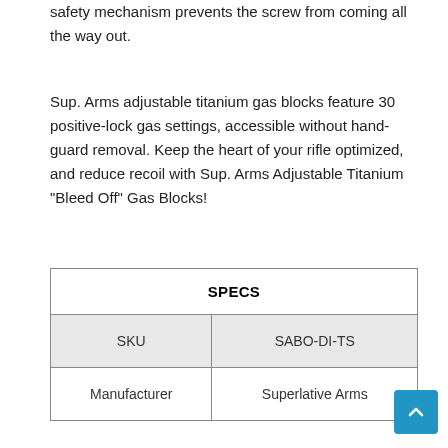safety mechanism prevents the screw from coming all the way out.
Sup. Arms adjustable titanium gas blocks feature 30 positive-lock gas settings, accessible without hand-guard removal. Keep the heart of your rifle optimized, and reduce recoil with Sup. Arms Adjustable Titanium "Bleed Off" Gas Blocks!
| SPECS |  |
| --- | --- |
| SKU | SABO-DI-TS |
| Manufacturer | Superlative Arms |